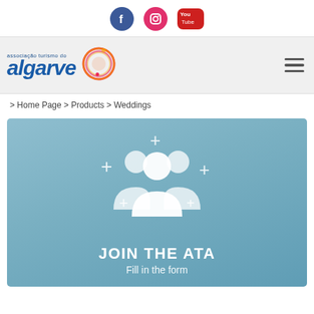[Figure (screenshot): Social media icons: Facebook (blue circle), Instagram (pink circle), YouTube (red rounded square)]
[Figure (logo): Associação Turismo do Algarve logo with colorful circular graphic and blue italic text 'algarve']
> Home Page > Products > Weddings
[Figure (infographic): Blue-grey banner with white group of people icons surrounded by plus signs, text 'JOIN THE ATA' and 'Fill in the form']